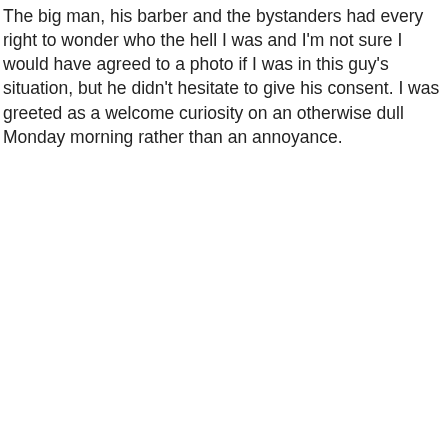The big man, his barber and the bystanders had every right to wonder who the hell I was and I'm not sure I would have agreed to a photo if I was in this guy's situation, but he didn't hesitate to give his consent. I was greeted as a welcome curiosity on an otherwise dull Monday morning rather than an annoyance.